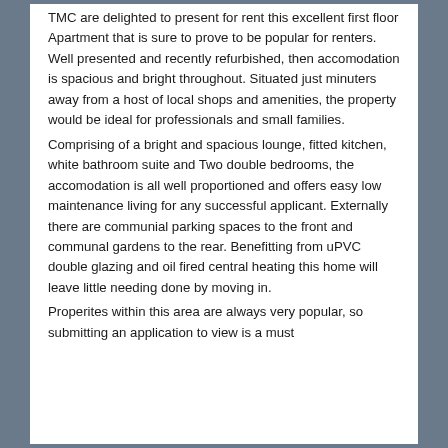TMC are delighted to present for rent this excellent first floor Apartment that is sure to prove to be popular for renters. Well presented and recently refurbished, then accomodation is spacious and bright throughout. Situated just minuters away from a host of local shops and amenities, the property would be ideal for professionals and small families.
Comprising of a bright and spacious lounge, fitted kitchen, white bathroom suite and Two double bedrooms, the accomodation is all well proportioned and offers easy low maintenance living for any successful applicant. Externally there are communial parking spaces to the front and communal gardens to the rear. Benefitting from uPVC double glazing and oil fired central heating this home will leave little needing done by moving in.
Properites within this area are always very popular, so submitting an application to view is a must